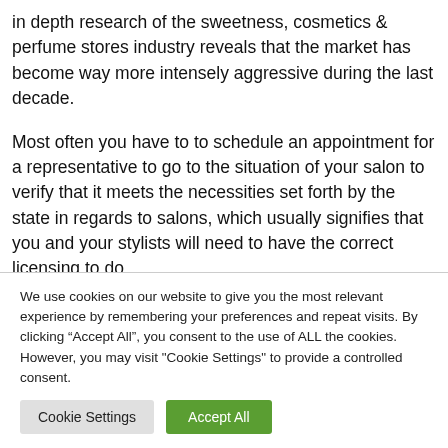in depth research of the sweetness, cosmetics & perfume stores industry reveals that the market has become way more intensely aggressive during the last decade.
Most often you have to to schedule an appointment for a representative to go to the situation of your salon to verify that it meets the necessities set forth by the state in regards to salons, which usually signifies that you and your stylists will need to have the correct licensing to do
We use cookies on our website to give you the most relevant experience by remembering your preferences and repeat visits. By clicking “Accept All”, you consent to the use of ALL the cookies. However, you may visit "Cookie Settings" to provide a controlled consent.